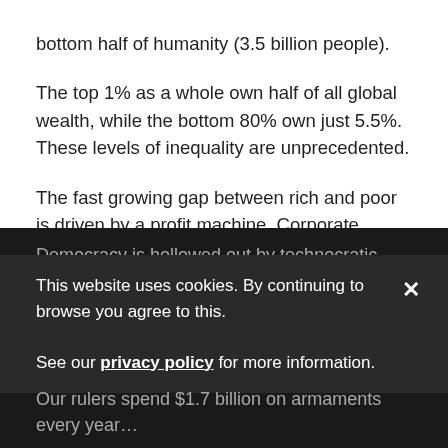bottom half of humanity (3.5 billion people).
The top 1% as a whole own half of all global wealth, while the bottom 80% own just 5.5%. These levels of inequality are unprecedented.
The fast growing gap between rich and poor is driven by a profit machine. Corporate power, privatisation, and austerity are tearing societies apart to enrich a tiny minority. Everything from housing to health to urban space is being commodified – turned into new sources of profit.
Democracy is hollowed out by technocratic regimes. ... Scapegoating ... right, and fear.
This website uses cookies. By continuing to browse you agree to this.

See our privacy policy for more information.
Our rulers spend $1.7 billion on armaments every year…